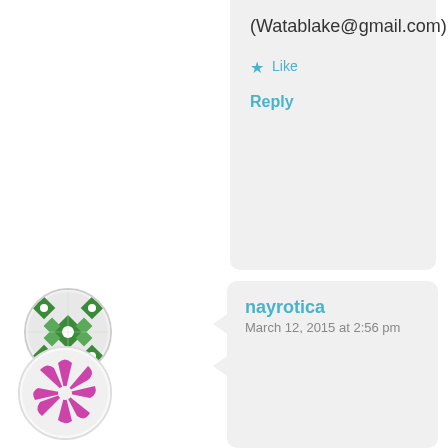(Watablake@gmail.com)
Like
Reply
[Figure (illustration): Green geometric avatar with diamond/flower pattern in green and white]
Wendi Hovanetz
March 12, 2015 at 8:39 am
I already know. There's something about us. We find each other.
Liked by 1 person
Reply
[Figure (illustration): Pink/magenta snowflake/pinwheel avatar icon]
nayrotica
March 12, 2015 at 2:56 pm